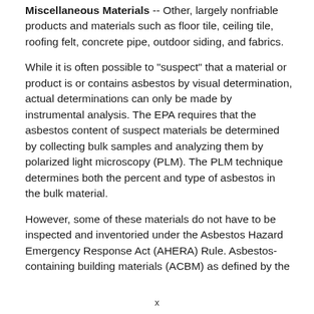Miscellaneous Materials -- Other, largely nonfriable products and materials such as floor tile, ceiling tile, roofing felt, concrete pipe, outdoor siding, and fabrics.
While it is often possible to "suspect" that a material or product is or contains asbestos by visual determination, actual determinations can only be made by instrumental analysis. The EPA requires that the asbestos content of suspect materials be determined by collecting bulk samples and analyzing them by polarized light microscopy (PLM). The PLM technique determines both the percent and type of asbestos in the bulk material.
However, some of these materials do not have to be inspected and inventoried under the Asbestos Hazard Emergency Response Act (AHERA) Rule. Asbestos-containing building materials (ACBM) as defined by the
x